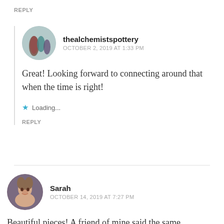REPLY
thealchemistspottery
OCTOBER 2, 2019 AT 1:33 PM
Great! Looking forward to connecting around that when the time is right!
Loading...
REPLY
Sarah
OCTOBER 14, 2019 AT 7:27 PM
Beautiful pieces! A friend of mine said the same